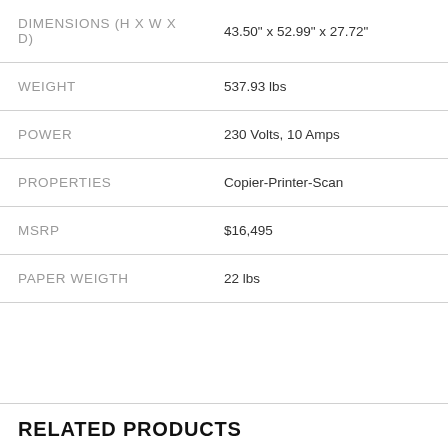| Specification | Value |
| --- | --- |
| DIMENSIONS (H X W X D) | 43.50" x 52.99" x 27.72" |
| WEIGHT | 537.93 lbs |
| POWER | 230 Volts, 10 Amps |
| PROPERTIES | Copier-Printer-Scan |
| MSRP | $16,495 |
| PAPER WEIGTH | 22 lbs |
RELATED PRODUCTS